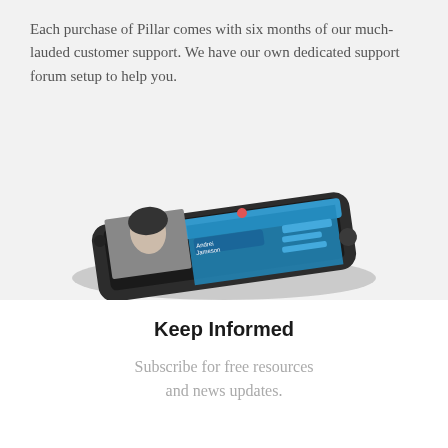Each purchase of Pillar comes with six months of our much-lauded customer support. We have our own dedicated support forum setup to help you.
[Figure (photo): A smartphone shown in landscape/angled perspective displaying a music app interface with a blue header, a person's portrait photo, and the name 'Andrei Jameson']
Keep Informed
Subscribe for free resources and news updates.